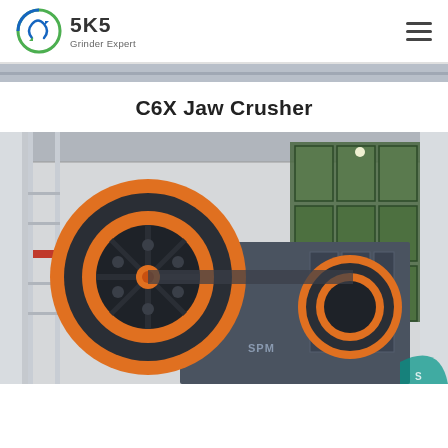SKS Grinder Expert
C6X Jaw Crusher
[Figure (photo): A large industrial C6X Jaw Crusher machine with orange flywheel rings and black body, photographed inside a factory/industrial building with green-framed windows and metal scaffolding in the background. An SKS logo is visible on the machine body.]